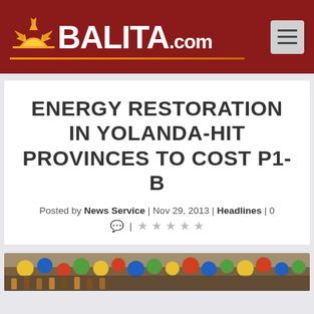BALITA.com
ENERGY RESTORATION IN YOLANDA-HIT PROVINCES TO COST P1-B
Posted by News Service | Nov 29, 2013 | Headlines | 0
[Figure (photo): Crowd scene photo thumbnail at bottom of page]